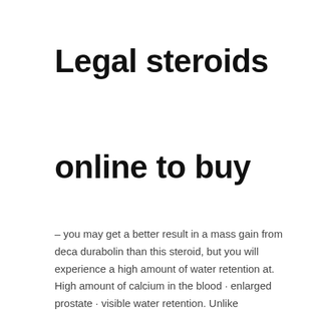Legal steroids online to buy
– you may get a better result in a mass gain from deca durabolin than this steroid, but you will experience a high amount of water retention at. High amount of calcium in the blood · enlarged prostate · visible water retention. Unlike